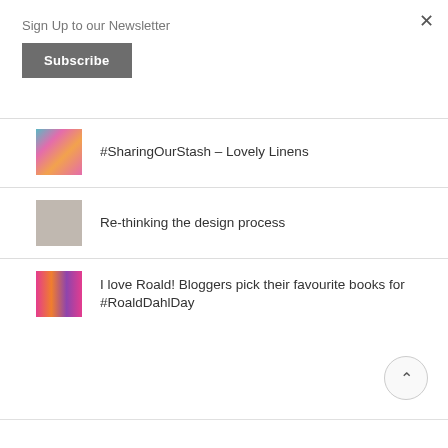Sign Up to our Newsletter
Subscribe
#SharingOurStash – Lovely Linens
Re-thinking the design process
I love Roald! Bloggers pick their favourite books for #RoaldDahlDay